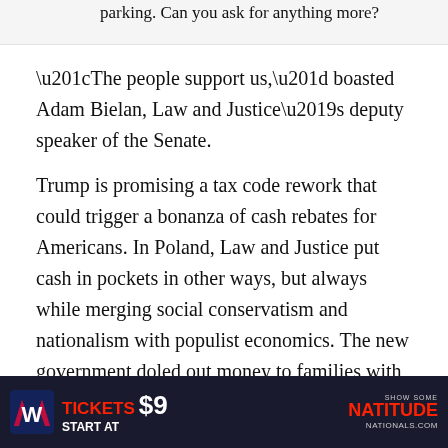parking. Can you ask for anything more?
“The people support us,” boasted Adam Bielan, Law and Justice’s deputy speaker of the Senate.
Trump is promising a tax code rework that could trigger a bonanza of cash rebates for Americans. In Poland, Law and Justice put cash in pockets in other ways, but always while merging social conservatism and nationalism with populist economics. The new government doled out money to families with children. They also slashed Poland’s retirement age — to as young as 60 for women and 65 for men.
[Figure (infographic): Washington Nationals advertisement banner: red logo with W, text 'TICKETS START AT $9', 'SHOW SOME NATITUDE', 'NATIONALS.COM', people cheering in red shirts on right side]